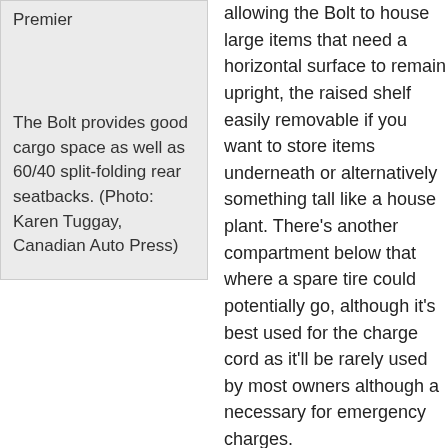[Figure (photo): Gray box placeholder representing a photo of the Chevy Bolt cargo space, Premier trim. Caption text inside the box reads: 'The Bolt provides good cargo space as well as 60/40 split-folding rear seatbacks. (Photo: Karen Tuggay, Canadian Auto Press)']
allowing the Bolt to house large items that need a horizontal surface to remain upright, the raised shelf easily removable if you want to store items underneath or alternatively something tall like a house plant. There's another compartment below that where a spare tire could potentially go, although it's best used for the charge cord as it'll be rarely used by most owners although a necessary for emergency charges.
If you attempt to charge your Bolt with this cord on a